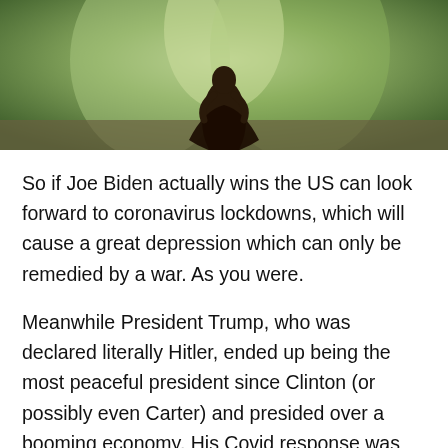[Figure (illustration): Fantasy or dramatic illustration showing a dark-robed figure kneeling on stone ground with a misty green background]
So if Joe Biden actually wins the US can look forward to coronavirus lockdowns, which will cause a great depression which can only be remedied by a war. As you were.
Meanwhile President Trump, who was declared literally Hitler, ended up being the most peaceful president since Clinton (or possibly even Carter) and presided over a booming economy. His Covid response was widely criticized as too lax , but he did give the states what they wanted in terms of financial and medical support. The jury on what is the best response to covid. is still out of course. (From the critics). Some have argued Trump was right...